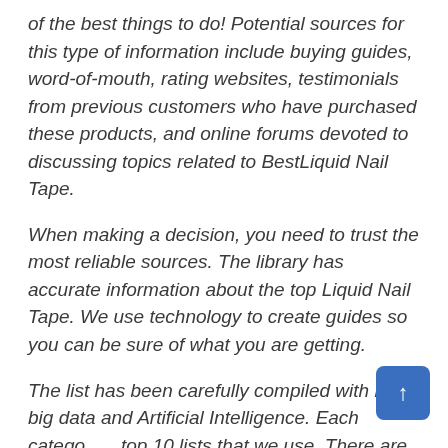of the best things to do! Potential sources for this type of information include buying guides, word-of-mouth, rating websites, testimonials from previous customers who have purchased these products, and online forums devoted to discussing topics related to BestLiquid Nail Tape.
When making a decision, you need to trust the most reliable sources. The library has accurate information about the top Liquid Nail Tape. We use technology to create guides so you can be sure of what you are getting.
The list has been carefully compiled with both big data and Artificial Intelligence. Each categories top 10 lists that we use. There are many more options than just these two at the moment and